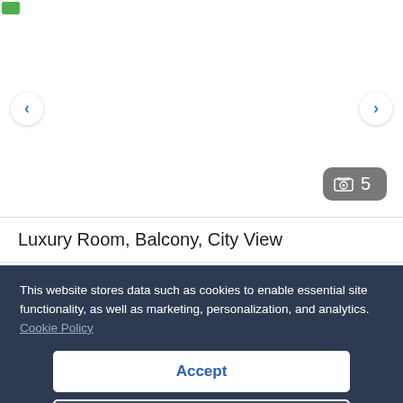[Figure (photo): Hotel room image carousel with navigation arrows (left and right) and a photo count badge showing 5 images]
Luxury Room, Balcony, City View
This website stores data such as cookies to enable essential site functionality, as well as marketing, personalization, and analytics. Cookie Policy
Accept
Deny